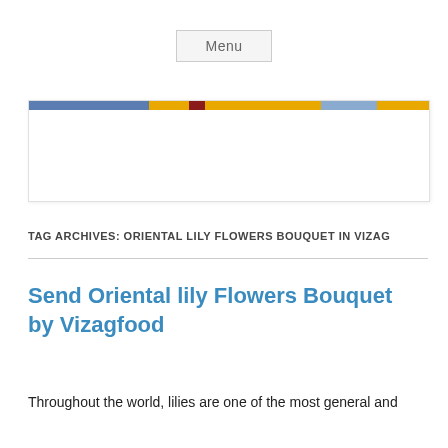Menu
[Figure (other): Horizontal colored bar banner — segments of blue, yellow, dark red, yellow, light blue, yellow]
TAG ARCHIVES: ORIENTAL LILY FLOWERS BOUQUET IN VIZAG
Send Oriental lily Flowers Bouquet by Vizagfood
Throughout the world, lilies are one of the most general and